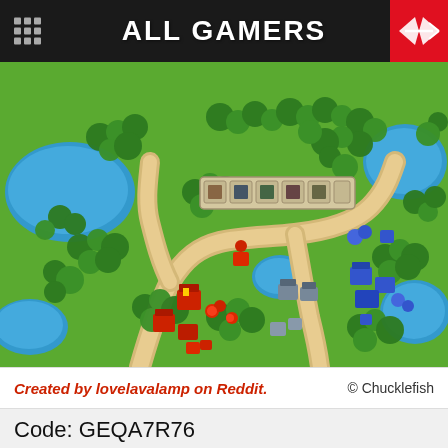ALL GAMERS
[Figure (screenshot): Top-down pixel art strategy game map (Wargroove) showing green terrain with trees, water, roads, red and blue military units, and buildings. A UI toolbar is visible at the top center of the screenshot.]
Created by lovelavalamp on Reddit.    © Chucklefish
Code: GEQA7R76
Others have already begun to play around with